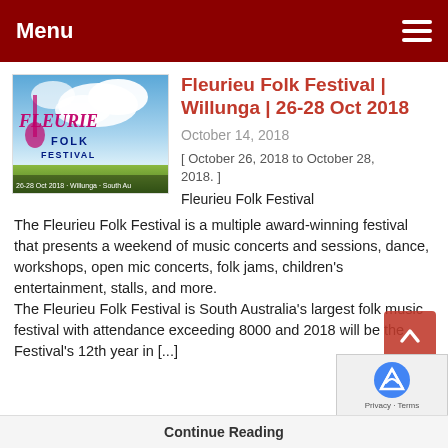Menu
[Figure (logo): Fleurieu Folk Festival logo with pink text on blue sky background, dates 26-28 Oct 2018, Willunga, South Australia]
Fleurieu Folk Festival | Willunga | 26-28 Oct 2018
October 14, 2018
[ October 26, 2018 to October 28, 2018. ]
Fleurieu Folk Festival
The Fleurieu Folk Festival is a multiple award-winning festival that presents a weekend of music concerts and sessions, dance, workshops, open mic concerts, folk jams, children's entertainment, stalls, and more.
The Fleurieu Folk Festival is South Australia's largest folk music festival with attendance exceeding 8000 and 2018 will be the Festival's 12th year in [...]
Continue Reading